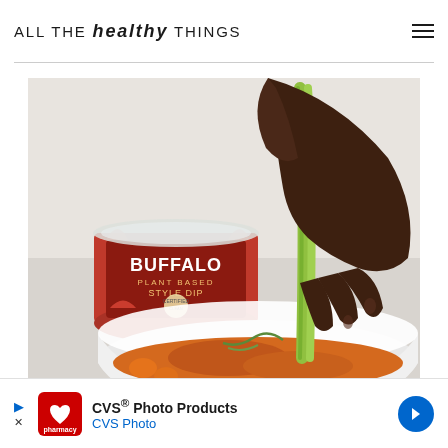ALL THE healthy THINGS
[Figure (photo): A hand dipping a celery stick into a white bowl of buffalo chicken dip, with a container of plant-based Buffalo Style Dip visible in the background on a light surface]
[Figure (infographic): CVS Photo Products advertisement banner with CVS Pharmacy logo, text reading CVS® Photo Products and CVS Photo, with a blue arrow button]